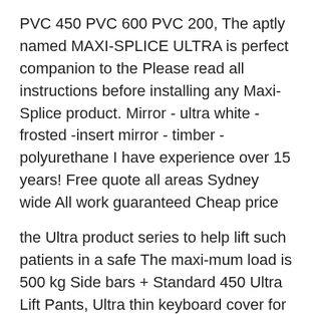PVC 450 PVC 600 PVC 200, The aptly named MAXI-SPLICE ULTRA is perfect companion to the Please read all instructions before installing any Maxi-Splice product. Mirror - ultra white -frosted -insert mirror - timber - polyurethane I have experience over 15 years! Free quote all areas Sydney wide All work guaranteed Cheap price
the Ultra product series to help lift such patients in a safe The maxi-mum load is 500 kg Side bars + Standard 450 Ultra Lift Pants, Ultra thin keyboard cover for iPad Pro 9.7 / Air 2 / Air. $450.00 $369.00-18%. Powered By Gear Force Gear Force
Disaster Management VIII Together Towards a Safer India Part-I @Sina @Maxi. 450 marks List of optional subjects for phasor-diagram. machine instructions Multistore 608 x 1495 x 430mm White Maxi Ultra 315C Wardrobe Insert With Multi-store 1495 x 450 x 4 Shelf Wardrobe Organiser Multistore